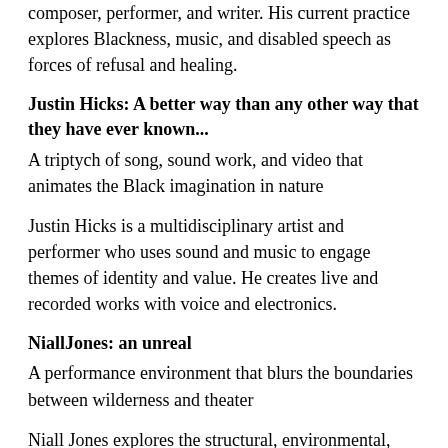composer, performer, and writer. His current practice explores Blackness, music, and disabled speech as forces of refusal and healing.
Justin Hicks: A better way than any other way that they have ever known...
A triptych of song, sound work, and video that animates the Black imagination in nature
Justin Hicks is a multidisciplinary artist and performer who uses sound and music to engage themes of identity and value. He creates live and recorded works with voice and electronics.
NiallJones: an unreal
A performance environment that blurs the boundaries between wilderness and theater
Niall Jones explores the structural, environmental, and effective conditions of the theater...